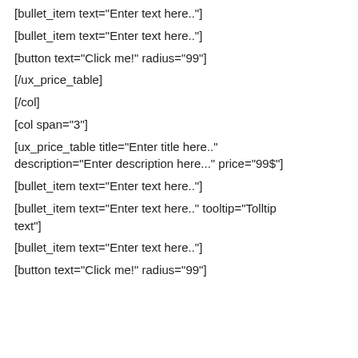[bullet_item text="Enter text here.."]
[bullet_item text="Enter text here.."]
[button text="Click me!" radius="99"]
[/ux_price_table]
[/col]
[col span="3"]
[ux_price_table title="Enter title here.." description="Enter description here..." price="99$"]
[bullet_item text="Enter text here.."]
[bullet_item text="Enter text here.." tooltip="Tolltip text"]
[bullet_item text="Enter text here.."]
[button text="Click me!" radius="99"]